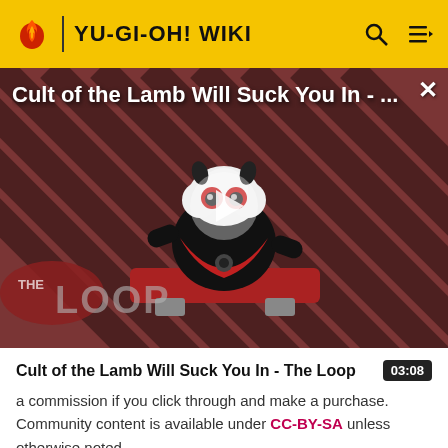YU-GI-OH! WIKI
[Figure (screenshot): Video thumbnail showing 'Cult of the Lamb Will Suck You In - ...' with a cartoon lamb character on a striped red/dark background, 'THE LOOP' logo visible at lower left, and a play button in the center. A close (X) button is in the top right corner.]
Cult of the Lamb Will Suck You In - The Loop
a commission if you click through and make a purchase. Community content is available under CC-BY-SA unless otherwise noted.